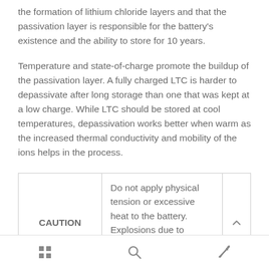the formation of lithium chloride layers and that the passivation layer is responsible for the battery's existence and the ability to store for 10 years.
Temperature and state-of-charge promote the buildup of the passivation layer. A fully charged LTC is harder to depassivate after long storage than one that was kept at a low charge. While LTC should be stored at cool temperatures, depassivation works better when warm as the increased thermal conductivity and mobility of the ions helps in the process.
| CAUTION | Description |
| --- | --- |
| CAUTION | Do not apply physical tension or excessive heat to the battery. Explosions due to careless handling have caused serious |
Navigation bar with grid, search, and edit icons